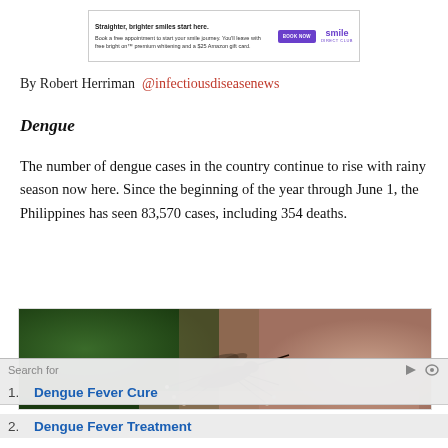[Figure (other): Advertisement banner for Smile Direct Club: 'Straighter, brighter smiles start here.' with a purple button labeled 'BOOK NOW' and the Smile logo]
By Robert Herriman @infectiousdiseasenews
Dengue
The number of dengue cases in the country continue to rise with rainy season now here. Since the beginning of the year through June 1, the Philippines has seen 83,570 cases, including 354 deaths.
[Figure (photo): Close-up macro photograph of a mosquito on skin, showing detailed legs and proboscis against a blurred green background]
Search for
1. Dengue Fever Cure
2. Dengue Fever Treatment